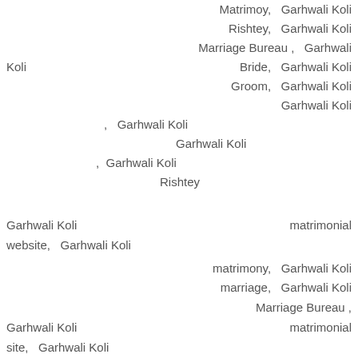Matrimoy, Garhwali Koli Rishtey, Garhwali Koli Marriage Bureau , Garhwali Koli Bride, Garhwali Koli Groom, Garhwali Koli Garhwali Koli , Garhwali Koli Garhwali Koli , Garhwali Koli Rishtey
Garhwali Koli matrimonial website, Garhwali Koli matrimony, Garhwali Koli marriage, Garhwali Koli Marriage Bureau , Garhwali Koli matrimonial site, Garhwali Koli matrimony, Garhwali Koli Rishtey, Garhwali Koli Garhwali Koli